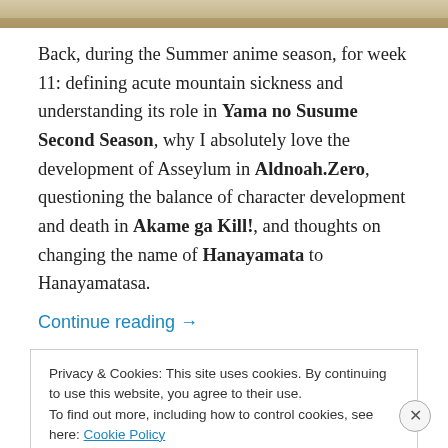[Figure (illustration): Top portion of an anime illustration showing characters' feet/lower body on a wooden floor]
Back, during the Summer anime season, for week 11: defining acute mountain sickness and understanding its role in Yama no Susume Second Season, why I absolutely love the development of Asseylum in Aldnoah.Zero, questioning the balance of character development and death in Akame ga Kill!, and thoughts on changing the name of Hanayamata to Hanayamatasa.
Continue reading →
Privacy & Cookies: This site uses cookies. By continuing to use this website, you agree to their use.
To find out more, including how to control cookies, see here: Cookie Policy